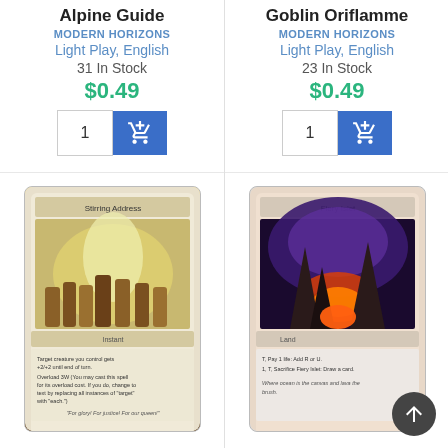Alpine Guide
MODERN HORIZONS
Light Play, English
31 In Stock
$0.49
Goblin Oriflamme
MODERN HORIZONS
Light Play, English
23 In Stock
$0.49
[Figure (photo): Magic: The Gathering card - Stirring Address, an Instant card from Modern Horizons showing a crowd of people in battle]
Stirring Address
MODERN HORIZONS
Light Play, English
[Figure (photo): Magic: The Gathering card - Fiery Islet - Foil, a Land card from Modern Horizons showing a dramatic volcanic islet with purple sky]
Fiery Islet - Foil
MODERN HORIZONS
Light Play, English